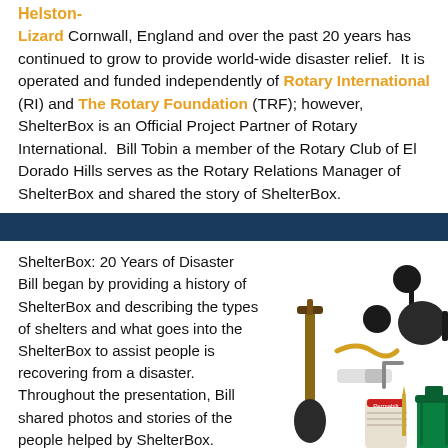Helston-Lizard Cornwall, England and over the past 20 years has continued to grow to provide world-wide disaster relief. It is operated and funded independently of Rotary International (RI) and The Rotary Foundation (TRF); however, ShelterBox is an Official Project Partner of Rotary International. Bill Tobin a member of the Rotary Club of El Dorado Hills serves as the Rotary Relations Manager of ShelterBox and shared the story of ShelterBox.
[Figure (other): Dark navy blue horizontal divider bar]
ShelterBox: 20 Years of Disaster Bill began by providing a history of ShelterBox and describing the types of shelters and what goes into the ShelterBox to assist people is recovering from a disaster. Throughout the presentation, Bill shared photos and stories of the people helped by ShelterBox.
[Figure (photo): Photo of ShelterBox items including a shovel, cooking pans, rope, paint roller, tent pegs, nails, and a green trash bin.]